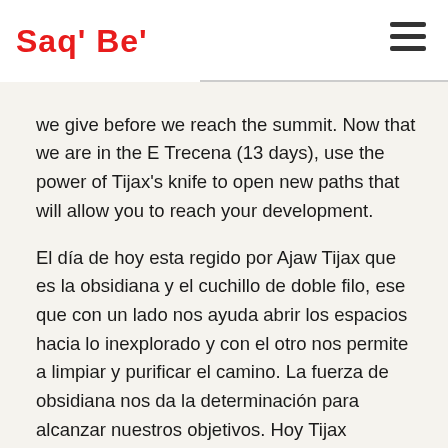Saq' Be'
we give before we reach the summit. Now that we are in the E Trecena (13 days), use the power of Tijax's knife to open new paths that will allow you to reach your development. El día de hoy esta regido por Ajaw Tijax que es la obsidiana y el cuchillo de doble filo, ese que con un lado nos ayuda abrir los espacios hacia lo inexplorado y con el otro nos permite a limpiar y purificar el camino. La fuerza de obsidiana nos da la determinación para alcanzar nuestros objetivos. Hoy Tijax confluye con el número 7 que es una energía cataliadora, es ese pequeño paso que damos antes de alcanzar a la cima. Ahora que estamos en la trecena de E, utiliza el poder del cuchillo de Tijax para abrir nuevas sendas que te permitan alcanzar tu desarrollo.